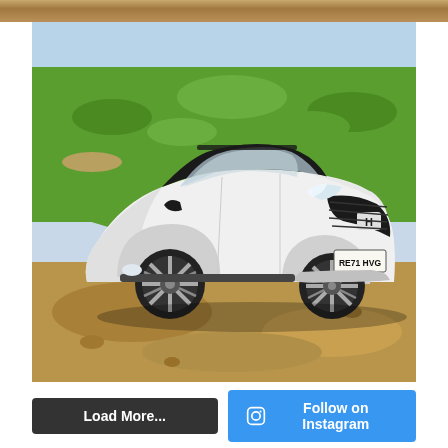[Figure (photo): Partial top strip showing background texture, sandy/golden tones.]
[Figure (photo): White Honda HR-V SUV (registration RE71 HVG) parked on a gravel/dirt surface in front of a green grassy hillside. Front three-quarter view showing the vehicle's black grille, silver alloy wheels, and black roof rails.]
[Figure (other): Load More... button (dark grey) and Follow on Instagram button (blue with Instagram icon).]